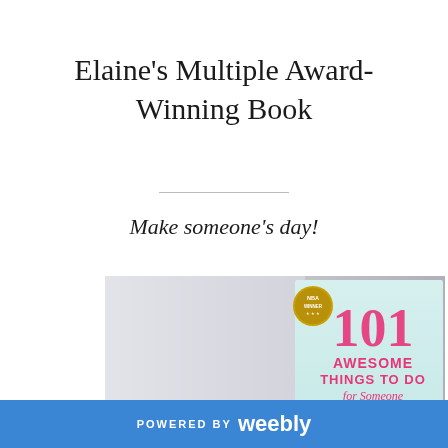Elaine's Multiple Award-Winning Book
Make someone's day!
[Figure (photo): Book cover photo of '101 Awesome Things To Do for Someone Who's Sick' with an NBA WINNER gold seal medallion, displayed against a gray gradient background]
POWERED BY weebly